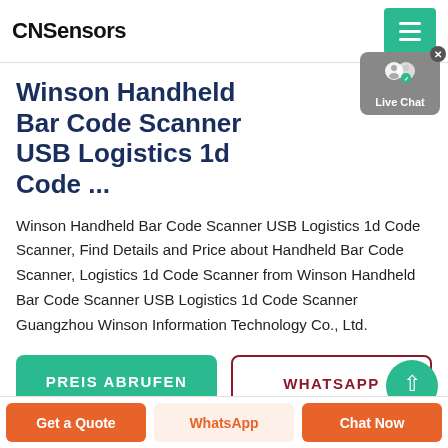CNSensors
Winson Handheld Bar Code Scanner USB Logistics 1d Code ...
Winson Handheld Bar Code Scanner USB Logistics 1d Code Scanner, Find Details and Price about Handheld Bar Code Scanner, Logistics 1d Code Scanner from Winson Handheld Bar Code Scanner USB Logistics 1d Code Scanner Guangzhou Winson Information Technology Co., Ltd.
PREIS ABRUFEN
WHATSAPP
Get a Quote | WhatsApp | Chat Now